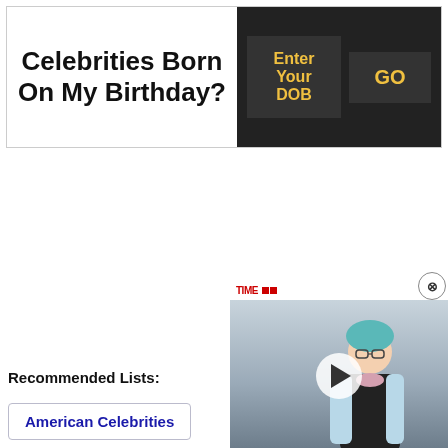Celebrities Born On My Birthday?
Enter Your DOB
GO
Recommended Lists:
American Celebrities
Penn
[Figure (photo): Video player overlay showing a person wearing glasses and a light blue jacket, with TIME logo in the top bar and a play button in the center]